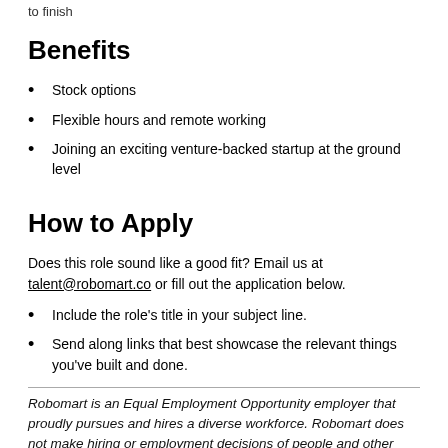to finish
Benefits
Stock options
Flexible hours and remote working
Joining an exciting venture-backed startup at the ground level
How to Apply
Does this role sound like a good fit? Email us at talent@robomart.co or fill out the application below.
Include the role's title in your subject line.
Send along links that best showcase the relevant things you've built and done.
Robomart is an Equal Employment Opportunity employer that proudly pursues and hires a diverse workforce. Robomart does not make hiring or employment decisions of people and other